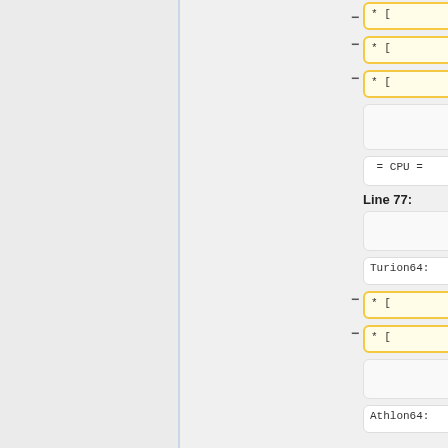[Figure (screenshot): Diff viewer showing two columns of code/wiki markup changes. Left column shows removed lines (yellow highlight, minus sign), right column shows added lines (blue highlight, plus sign). Content includes '* [', '= CPU =', 'Line 77:', 'Turion64:', 'Athlon64:' entries.]